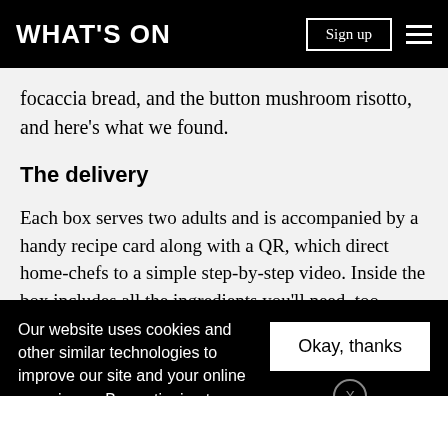WHAT'S ON
focaccia bread, and the button mushroom risotto, and here's what we found.
The delivery
Each box serves two adults and is accompanied by a handy recipe card along with a QR, which direct home-chefs to a simple step-by-step video. Inside the box includes all the ingredients you'll need, too.
The process
Our website uses cookies and other similar technologies to improve our site and your online experience. By continuing to use our website you conser our pr